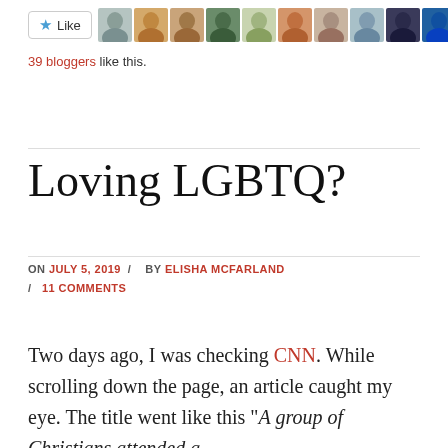[Figure (other): Like button with star icon and row of blogger avatar thumbnails]
39 bloggers like this.
Loving LGBTQ?
ON JULY 5, 2019 / BY ELISHA MCFARLAND / 11 COMMENTS
Two days ago, I was checking CNN. While scrolling down the page, an article caught my eye. The title went like this "A group of Christians attended a